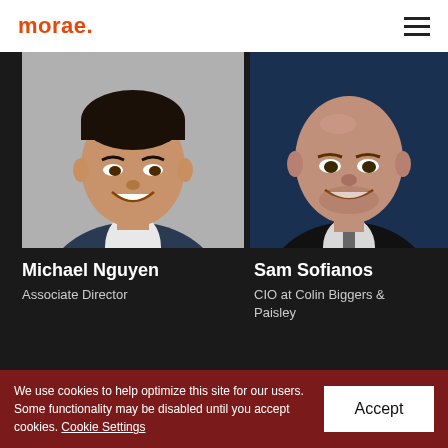morae
[Figure (photo): Headshot of Michael Nguyen, young Asian man in a dark suit, smiling, grey background]
[Figure (photo): Headshot of Sam Sofianos, bald man in dark suit, smiling, dark blue background]
Michael Nguyen
Associate Director
Sam Sofianos
CIO at Colin Biggers & Paisley
We use cookies to help optimize this site for our users. Some functionality may be disabled until you accept cookies. Cookie Settings